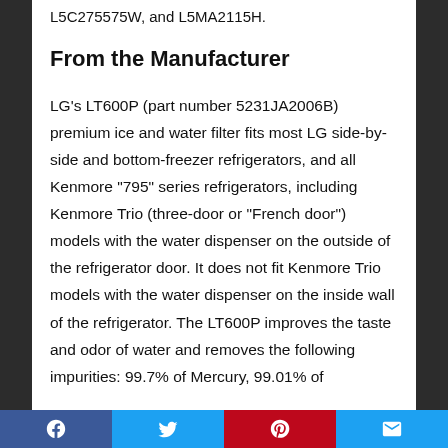L5C275575W, and L5MA2115H.
From the Manufacturer
LG’s LT600P (part number 5231JA2006B) premium ice and water filter fits most LG side-by-side and bottom-freezer refrigerators, and all Kenmore “795” series refrigerators, including Kenmore Trio (three-door or “French door”) models with the water dispenser on the outside of the refrigerator door. It does not fit Kenmore Trio models with the water dispenser on the inside wall of the refrigerator. The LT600P improves the taste and odor of water and removes the following impurities: 99.7% of Mercury, 99.01% of